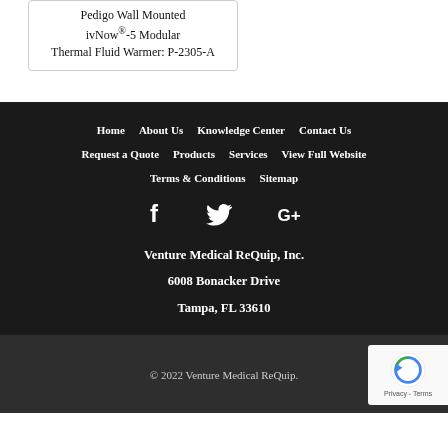Pedigo Wall Mounted ivNow®-5 Modular Thermal Fluid Warmer: P-2305-A
Home | About Us | Knowledge Center | Contact Us | Request a Quote | Products | Services | View Full Website | Terms & Conditions | Sitemap
[Figure (other): Social media icons: Facebook, Twitter, Google+]
Venture Medical ReQuip, Inc.
6008 Bonacker Drive
Tampa, FL 33610
© 2022 Venture Medical ReQuip.
[Figure (other): reCAPTCHA badge with Privacy and Terms links]